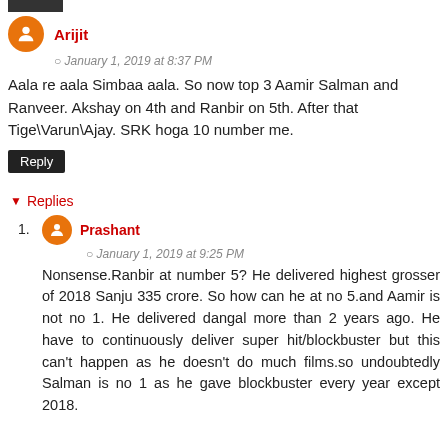Arijit
January 1, 2019 at 8:37 PM
Aala re aala Simbaa aala. So now top 3 Aamir Salman and Ranveer. Akshay on 4th and Ranbir on 5th. After that Tige\Varun\Ajay. SRK hoga 10 number me.
Reply
Replies
Prashant
January 1, 2019 at 9:25 PM
Nonsense.Ranbir at number 5? He delivered highest grosser of 2018 Sanju 335 crore. So how can he at no 5.and Aamir is not no 1. He delivered dangal more than 2 years ago. He have to continuously deliver super hit/blockbuster but this can't happen as he doesn't do much films.so undoubtedly Salman is no 1 as he gave blockbuster every year except 2018.